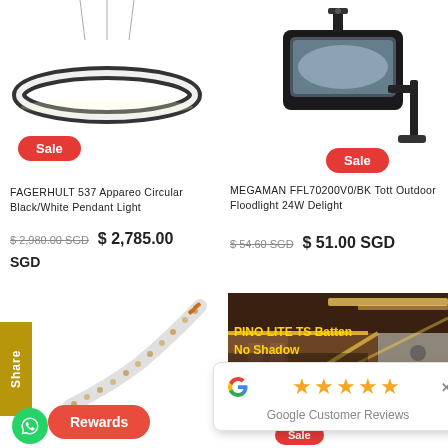[Figure (photo): FAGERHULT 537 circular pendant light, ring-shaped black/white]
Sale
FAGERHULT 537 Appareo Circular Black/White Pendant Light
$ 2,980.00 SGD  $ 2,785.00
SGD
[Figure (photo): MEGAMAN FFL70200V0/BK Tott outdoor floodlight, black rectangular LED floodlight on bracket]
Sale
MEGAMAN FFL70200V0/BK Tott Outdoor Floodlight 24W Delight
$ 54.60 SGD  $ 51.00 SGD
[Figure (photo): LED strip light flexible tape, white strip with LED dots, curving diagonally]
Rewards
[Figure (photo): Interior room with cove lighting and PINO LITE TS Batten No Shadow Long life text overlay]
PINO LITE TS Batten
No Shadow
Long life
wi
[Figure (other): Google Customer Reviews popup with 5 stars rating and Google G logo]
Sale